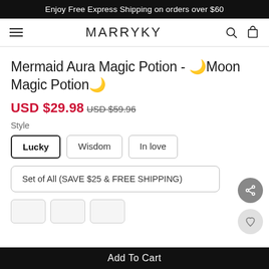Enjoy Free Express Shipping on orders over $60
MARRYKY
Mermaid Aura Magic Potion - 🌙Moon Magic Potion🌙
USD $29.98  USD $59.96
Style
Lucky
Wisdom
In love
Set of All (SAVE $25 & FREE SHIPPING)
Add To Cart